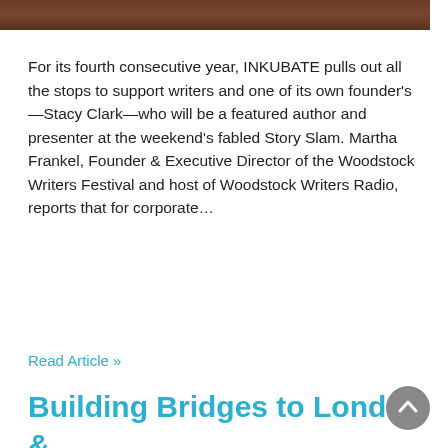[Figure (photo): Partial photo at top of page showing brown/dark tones, cropped]
For its fourth consecutive year, INKUBATE pulls out all the stops to support writers and one of its own founder's—Stacy Clark—who will be a featured author and presenter at the weekend's fabled Story Slam. Martha Frankel, Founder & Executive Director of the Woodstock Writers Festival and host of Woodstock Writers Radio, reports that for corporate...
Read Article »
Building Bridges to London & Beyond
April 20, 2015   |   by Inkubate